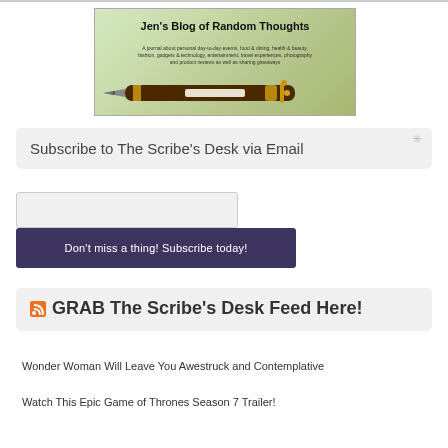[Figure (illustration): Blog header banner for 'Jen's Blog of Random Thoughts' showing a fountain pen on a green leafy background with subtitle text about personal day-to-day events, food & dining, health & beauty, fashion, gadgets & technology, entertainment, travel experiences, photography and product reviews as well as sharing giveaways.]
Subscribe to The Scribe's Desk via Email
Don't miss a thing! Subscribe today!
GRAB The Scribe's Desk Feed Here!
Wonder Woman Will Leave You Awestruck and Contemplative
Watch This Epic Game of Thrones Season 7 Trailer!